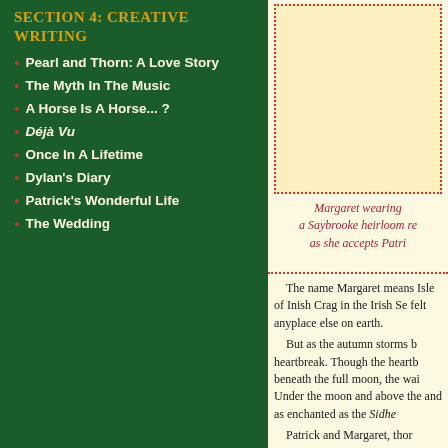Section 4: Creative Writing
Pearl and Thorn: A Love Story
The Myth In The Music
A Horse Is A Horse... ?
Déjà Vu
Once In A Lifetime
Dylan's Diary
Patrick's Wonderful Life
The Wedding
[Figure (photo): Photo of Margaret wearing a Saybrooke heirloom ring as she accepts Patrick's proposal]
Margaret wearing a Saybrooke heirloom re- as she accepts Patri-
The name Margaret means- Isle of Inish Crag in the Irish Se- felt anyplace else on earth.     But as the autumn storms b- heartbreak. Though the heartb- beneath the full moon, the wai- Under the moon and above the- and as enchanted as the Sidhe-     Patrick and Margaret, thor-